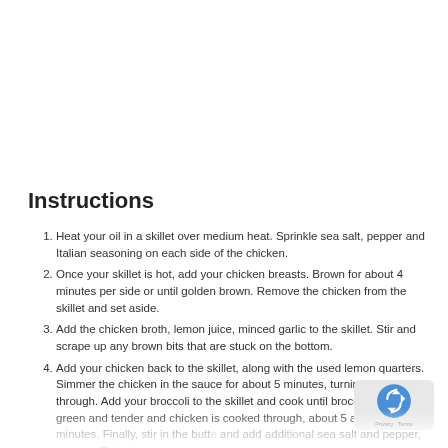Instructions
Heat your oil in a skillet over medium heat. Sprinkle sea salt, pepper and Italian seasoning on each side of the chicken.
Once your skillet is hot, add your chicken breasts. Brown for about 4 minutes per side or until golden brown. Remove the chicken from the skillet and set aside.
Add the chicken broth, lemon juice, minced garlic to the skillet. Stir and scrape up any brown bits that are stuck on the bottom.
Add your chicken back to the skillet, along with the used lemon quarters. Simmer the chicken in the sauce for about 5 minutes, turning halfway through. Add your broccoli to the skillet and cook until broccoli is bright green and tender and chicken is cooked through, about 5 additional minutes. Finally, stir in the butt and add additional sea salt and pepper, to taste. Enjoy!